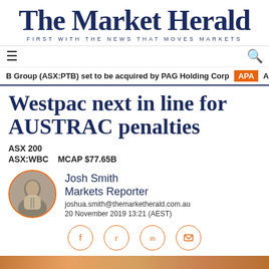The Market Herald
FIRST WITH THE NEWS THAT MOVES MARKETS
B Group (ASX:PTB) set to be acquired by PAG Holding Corp   APA   A
Westpac next in line for AUSTRAC penalties
ASX 200
ASX:WBC   MCAP $77.65B
Josh Smith
Markets Reporter
joshua.smith@themarketherald.com.au
20 November 2019 13:21 (AEST)
[Figure (other): Social sharing icons: Facebook, Twitter, LinkedIn, Email]
[Figure (photo): Bottom strip showing partial image, orange/amber tones]